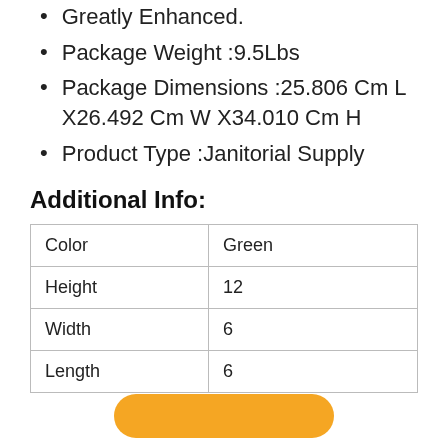Greatly Enhanced.
Package Weight :9.5Lbs
Package Dimensions :25.806 Cm L X26.492 Cm W X34.010 Cm H
Product Type :Janitorial Supply
Additional Info:
| Color | Green |
| Height | 12 |
| Width | 6 |
| Length | 6 |